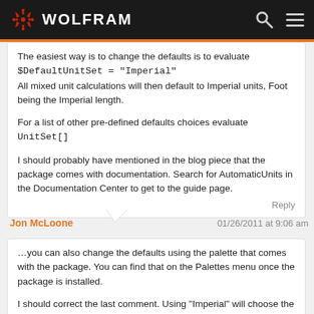WOLFRAM
The easiest way is to change the defaults is to evaluate $DefaultUnitSet = "Imperial" All mixed unit calculations will then default to Imperial units, Foot being the Imperial length.

For a list of other pre-defined defaults choices evaluate UnitSet[]

I should probably have mentioned in the blog piece that the package comes with documentation. Search for AutomaticUnits in the Documentation Center to get to the guide page.
Reply
Jon McLoone  01/26/2011 at 9:06 am
…you can also change the defaults using the palette that comes with the package. You can find that on the Palettes menu once the package is installed.

I should correct the last comment. Using "Imperial" will choose the most appropriate unit out of the set, which is only Foot for lengths around a Foot, it will switch to Yard for larger lengths and Inch for smaller. To ensure